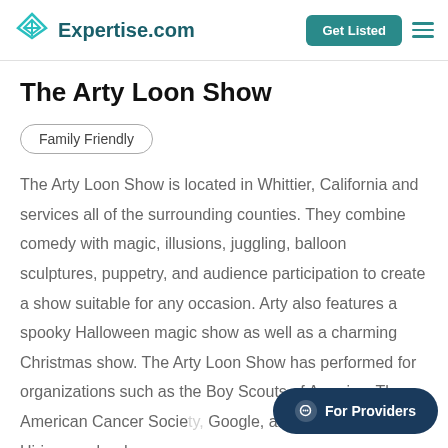Expertise.com — Get Listed
The Arty Loon Show
Family Friendly
The Arty Loon Show is located in Whittier, California and services all of the surrounding counties. They combine comedy with magic, illusions, juggling, balloon sculptures, puppetry, and audience participation to create a show suitable for any occasion. Arty also features a spooky Halloween magic show as well as a charming Christmas show. The Arty Loon Show has performed for organizations such as the Boy Scouts of America, The American Cancer Society, Google, and Warner Brothers. Hiring can be done over